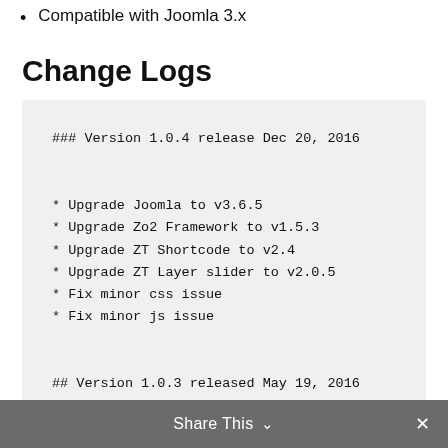Compatible with Joomla 3.x
Change Logs
### Version 1.0.4 release Dec 20, 2016

* Upgrade Joomla to v3.6.5
* Upgrade Zo2 Framework to v1.5.3
* Upgrade ZT Shortcode to v2.4
* Upgrade ZT Layer slider to v2.0.5
* Fix minor css issue
* Fix minor js issue

## Version 1.0.3 released May 19, 2016

* Repaired the menu canvas with scroll & pos...
Share This ✓ ✕